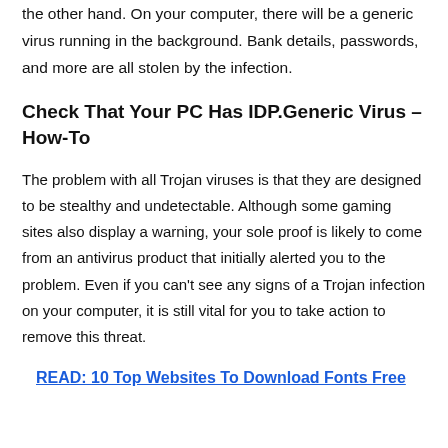the other hand. On your computer, there will be a generic virus running in the background. Bank details, passwords, and more are all stolen by the infection.
Check That Your PC Has IDP.Generic Virus – How-To
The problem with all Trojan viruses is that they are designed to be stealthy and undetectable. Although some gaming sites also display a warning, your sole proof is likely to come from an antivirus product that initially alerted you to the problem. Even if you can't see any signs of a Trojan infection on your computer, it is still vital for you to take action to remove this threat.
READ: 10 Top Websites To Download Fonts Free